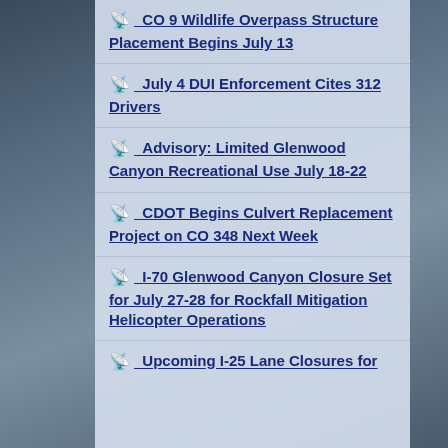CO 9 Wildlife Overpass Structure Placement Begins July 13
July 4 DUI Enforcement Cites 312 Drivers
Advisory: Limited Glenwood Canyon Recreational Use July 18-22
CDOT Begins Culvert Replacement Project on CO 348 Next Week
I-70 Glenwood Canyon Closure Set for July 27-28 for Rockfall Mitigation Helicopter Operations
Upcoming I-25 Lane Closures for